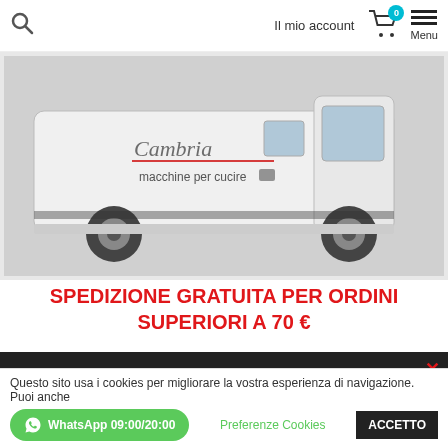Il mio account  Menu
[Figure (photo): White delivery van branded with 'Cambria macchine per cucire' logo and sewing machine icon]
SPEDIZIONE GRATUITA PER ORDINI SUPERIORI A 70 €
SEGUICI SU FACEBOOK
[Figure (logo): Cambria macchine per cucire logo in popup overlay]
Questo sito usa i cookies per migliorare la vostra esperienza di navigazione. Puoi anche
WhatsApp 09:00/20:00
Preferenze Cookies
ACCETTO